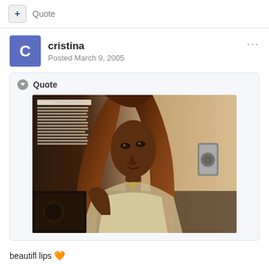+ Quote
cristina
Posted March 9, 2005
Quote
[Figure (photo): A woman with long straight brown hair with bangs, wearing a light top and gold necklace, posed in what appears to be a studio or indoor setting. There is text/article visible in the upper left corner of the image with 'Cinnamon' as a heading.]
beautifl lips 🧡